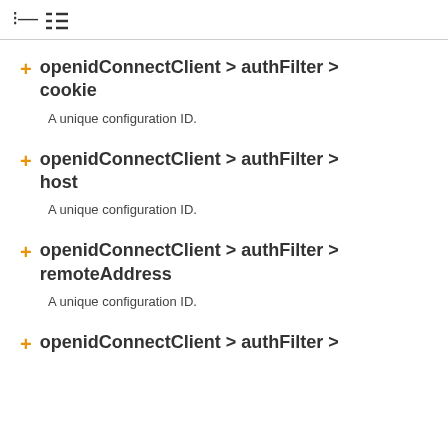≡
+ openidConnectClient > authFilter > cookie
A unique configuration ID.
+ openidConnectClient > authFilter > host
A unique configuration ID.
+ openidConnectClient > authFilter > remoteAddress
A unique configuration ID.
+ openidConnectClient > authFilter >